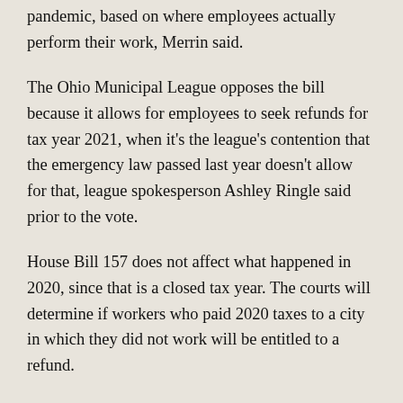pandemic, based on where employees actually perform their work, Merrin said.
The Ohio Municipal League opposes the bill because it allows for employees to seek refunds for tax year 2021, when it's the league's contention that the emergency law passed last year doesn't allow for that, league spokesperson Ashley Ringle said prior to the vote.
House Bill 157 does not affect what happened in 2020, since that is a closed tax year. The courts will determine if workers who paid 2020 taxes to a city in which they did not work will be entitled to a refund.
Jay Carson, an attorney with the conservative Buckeye Institute, which has filed lawsuits challenging the emergency law, said cases are pending in Cuyahoga, Hamilton and Lucas counties. A lawsuit in Franklin County was